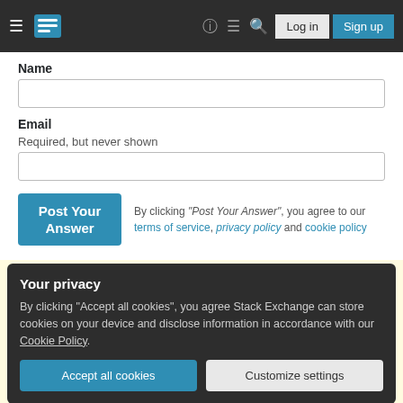[Figure (screenshot): Stack Exchange website navigation header with hamburger menu, logo, question mark, chat, search icons, and Log in / Sign up buttons]
Name
Email
Required, but never shown
By clicking "Post Your Answer", you agree to our terms of service, privacy policy and cookie policy
Your privacy
By clicking "Accept all cookies", you agree Stack Exchange can store cookies on your device and disclose information in accordance with our Cookie Policy.